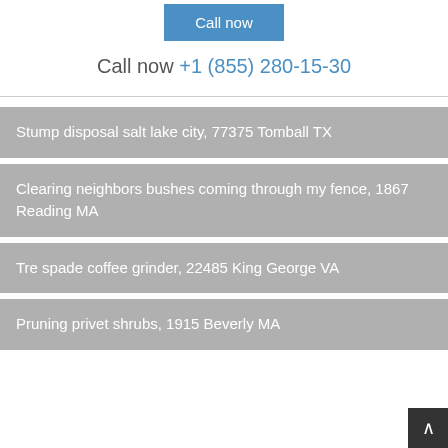[Figure (other): Blue 'Call now' button]
Call now +1 (855) 280-15-30
Stump disposal salt lake city, 77375 Tomball TX
Clearing neighbors bushes coming through my fence, 1867 Reading MA
Tre spade coffee grinder, 22485 King George VA
Pruning privet shrubs, 1915 Beverly MA